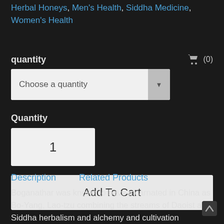Herbal Honeys, Men's Health, Siddha Medicine, Women's Health
quantity
(0)
Choose a quantity
Quantity
1
Add To Cart
Description    Related Products
Boganathar was known to have incarnated in China as Bo-Yang, Lao-tzu combining the streams of Daoist and Siddha herbalism and alchemy and cultivation